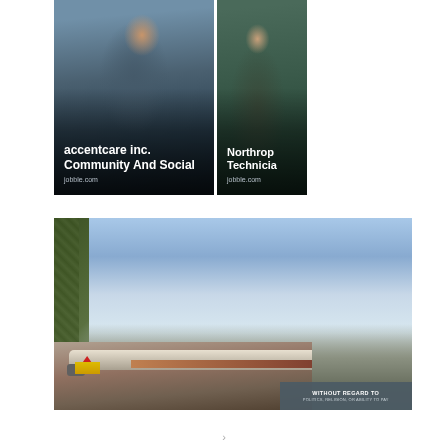[Figure (photo): Job listing card showing a woman working at a desk with computer and phone. Text overlay: 'accentcare inc. Community And Social' and 'jobble.com']
[Figure (photo): Job listing card showing a woman wearing a green headscarf/hijab. Partial text visible: 'Northrop Technicia' and 'jobble.com']
[Figure (photo): Large advertisement card showing an outdoor scene with sky, foliage on left, a person in distance, and an airplane being loaded. Banner reads 'WITHOUT REGARD TO POLITICS, RELIGION, OR ABILITY TO PAY']
>